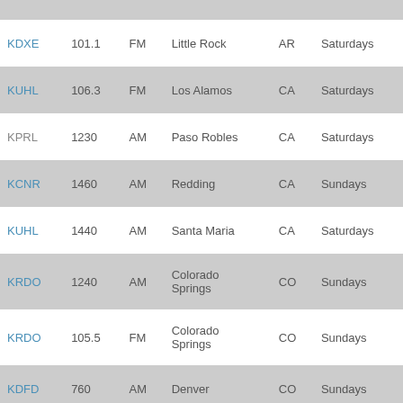| Call Sign | Frequency | Band | City | State | Schedule |
| --- | --- | --- | --- | --- | --- |
| KDXE | 101.1 | FM | Little Rock | AR | Saturdays |
| KUHL | 106.3 | FM | Los Alamos | CA | Saturdays |
| KPRL | 1230 | AM | Paso Robles | CA | Saturdays |
| KCNR | 1460 | AM | Redding | CA | Sundays |
| KUHL | 1440 | AM | Santa Maria | CA | Saturdays |
| KRDO | 1240 | AM | Colorado Springs | CO | Sundays |
| KRDO | 105.5 | FM | Colorado Springs | CO | Sundays |
| KDFD | 760 | AM | Denver | CO | Sundays |